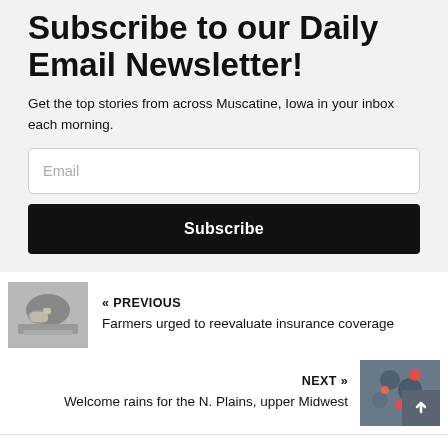Subscribe to our Daily Email Newsletter!
Get the top stories from across Muscatine, Iowa in your inbox each morning.
Email
Subscribe
« PREVIOUS
Farmers urged to reevaluate insurance coverage
[Figure (photo): Black and white photo of a hand pointing at a document or keyboard]
NEXT »
Welcome rains for the N. Plains, upper Midwest
[Figure (photo): Weather map or satellite image showing storm systems]